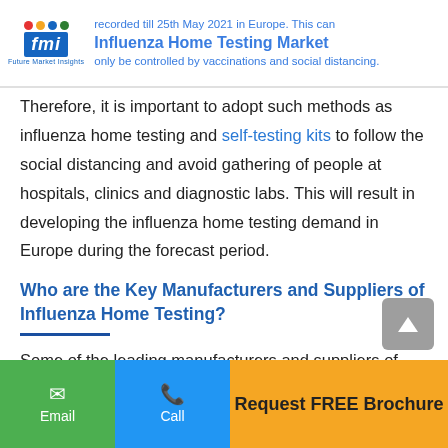fmi | Influenza Home Testing Market
Therefore, it is important to adopt such methods as influenza home testing and self-testing kits to follow the social distancing and avoid gathering of people at hospitals, clinics and diagnostic labs. This will result in developing the influenza home testing demand in Europe during the forecast period.
Who are the Key Manufacturers and Suppliers of Influenza Home Testing?
Some of the leading manufacturers and suppliers of influenza home testing include:
Email | Call | Request FREE Brochure